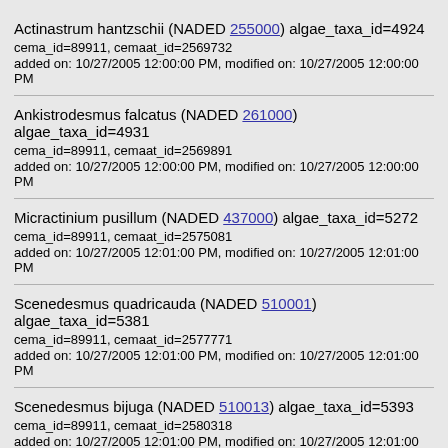Actinastrum hantzschii (NADED 255000) algae_taxa_id=4924
cema_id=89911, cemaat_id=2569732
added on: 10/27/2005 12:00:00 PM, modified on: 10/27/2005 12:00:00 PM
Ankistrodesmus falcatus (NADED 261000) algae_taxa_id=4931
cema_id=89911, cemaat_id=2569891
added on: 10/27/2005 12:00:00 PM, modified on: 10/27/2005 12:00:00 PM
Micractinium pusillum (NADED 437000) algae_taxa_id=5272
cema_id=89911, cemaat_id=2575081
added on: 10/27/2005 12:01:00 PM, modified on: 10/27/2005 12:01:00 PM
Scenedesmus quadricauda (NADED 510001) algae_taxa_id=5381
cema_id=89911, cemaat_id=2577771
added on: 10/27/2005 12:01:00 PM, modified on: 10/27/2005 12:01:00 PM
Scenedesmus bijuga (NADED 510013) algae_taxa_id=5393
cema_id=89911, cemaat_id=2580318
added on: 10/27/2005 12:01:00 PM, modified on: 10/27/2005 12:01:00 PM